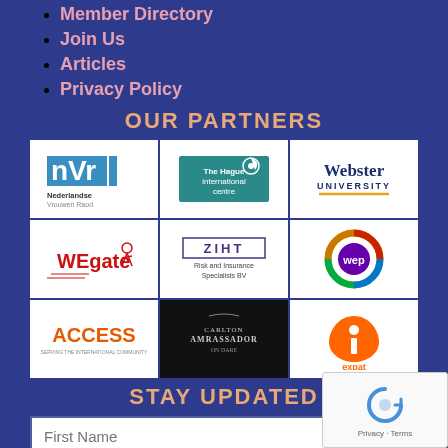Member Directory
Join Us
Articles
Privacy Policy
OUR PARTNERS
[Figure (logo): 9 partner logos in a 3x3 grid: Nederlandse Vrouwen Raad (NVR), The Hague International Centre, Webster University, WEgate, ZIHT Risk and Insurance Specialists BV, WEP (colorful circle), ACCESS, Carlton Ambassador on Dare, Expat (orange tulip)]
STAY UPDATED
First Name (input field)